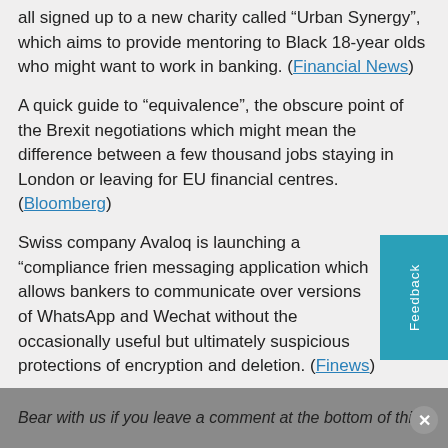all signed up to a new charity called “Urban Synergy”, which aims to provide mentoring to Black 18-year olds who might want to work in banking. (Financial News)
A quick guide to “equivalence”, the obscure point of the Brexit negotiations which might mean the difference between a few thousand jobs staying in London or leaving for EU financial centres. (Bloomberg)
Swiss company Avaloq is launching a “compliance friendly” messaging application which allows bankers to communicate over versions of WhatsApp and Wechat without the occasionally useful but ultimately suspicious protections of encryption and deletion. (Finews)
Have a confidential story, tip, or comment you’d like to share? Contact: [email protected] in the first instance. Whatsapp/Signal/Telegram also available.
Bear with us if you leave a comment at the bottom of this